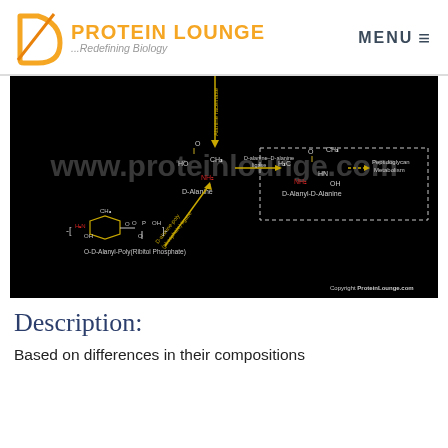[Figure (logo): Protein Lounge logo with orange D-shape and text 'PROTEIN LOUNGE ...Redefining Biology']
[Figure (schematic): Biochemical pathway diagram showing D-Alanine metabolism on black background. Shows D-alanine racemase reaction, D-alanine–D-alanine ligase converting D-Alanine to D-Alanyl-D-Alanine, leading to Peptidoglycan Metabolism. Also shows D-alanine-poly(phosphate) ligase and O-D-Alanyl-Poly(Ribitol Phosphate). Watermark: www.proteinlounge.com. Copyright ProteinLounge.com]
Description:
Based on differences in their compositions